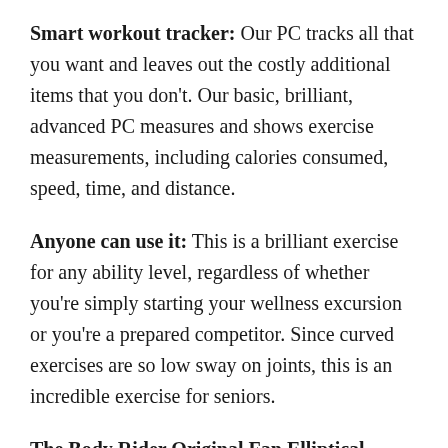Smart workout tracker: Our PC tracks all that you want and leaves out the costly additional items that you don't. Our basic, brilliant, advanced PC measures and shows exercise measurements, including calories consumed, speed, time, and distance.
Anyone can use it: This is a brilliant exercise for any ability level, regardless of whether you're simply starting your wellness excursion or you're a prepared competitor. Since curved exercises are so low sway on joints, this is an incredible exercise for seniors.
The Body Rider Original Fan Elliptical Trainer: This licensed curved rider permits clients to perform upper and lower body exercises with zero effect. The fan wheel runs discreetly and easily. You might pick your ideal exercise